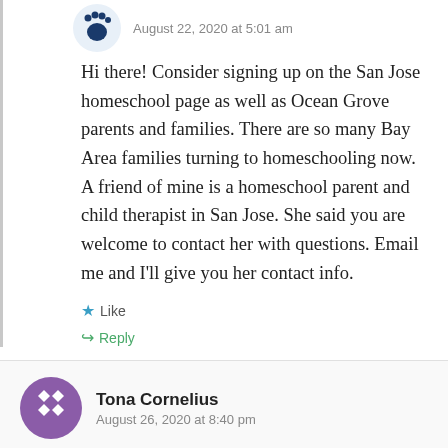[Figure (illustration): User avatar icon - dark blue paw/hand icon in a circle, top left of first comment]
August 22, 2020 at 5:01 am
Hi there! Consider signing up on the San Jose homeschool page as well as Ocean Grove parents and families. There are so many Bay Area families turning to homeschooling now. A friend of mine is a homeschool parent and child therapist in San Jose. She said you are welcome to contact her with questions. Email me and I'll give you her contact info.
Like
Reply
[Figure (illustration): Purple avatar with white diamond/circle pattern for Tona Cornelius]
Tona Cornelius
August 26, 2020 at 8:40 pm